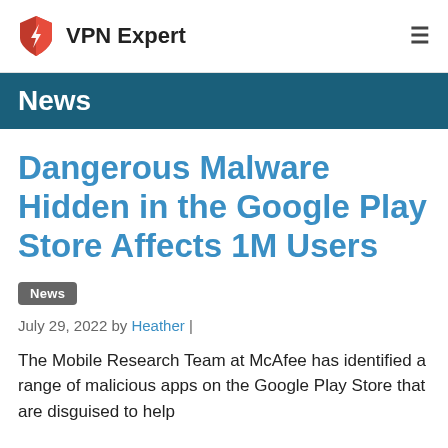VPN Expert
News
Dangerous Malware Hidden in the Google Play Store Affects 1M Users
News
July 29, 2022 by Heather |
The Mobile Research Team at McAfee has identified a range of malicious apps on the Google Play Store that are disguised to help